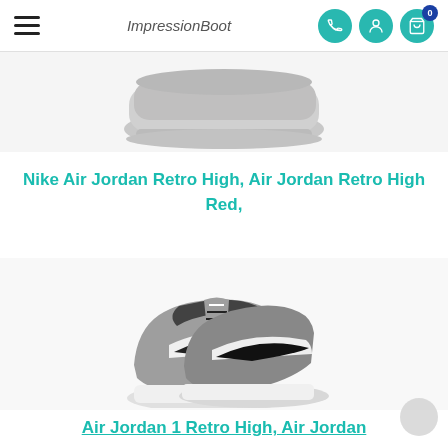ImpressionBoot — navigation bar with hamburger menu, logo, phone/user/cart icons
[Figure (photo): Partial top view of a grey Nike sneaker sole/bottom, cropped at top of page]
Nike Air Jordan Retro High, Air Jordan Retro High Red,
[Figure (photo): Air Jordan 1 Retro High sneakers in grey/black/white colorway, pair shown angled]
Air Jordan 1 Retro High, Air Jordan (partial, cut off at bottom)